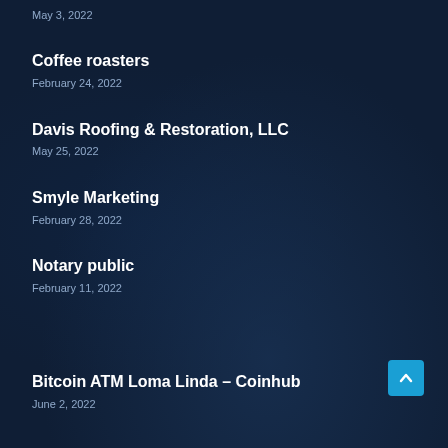May 3, 2022
Coffee roasters
February 24, 2022
Davis Roofing & Restoration, LLC
May 25, 2022
Smyle Marketing
February 28, 2022
Notary public
February 11, 2022
Bitcoin ATM Loma Linda – Coinhub
June 2, 2022